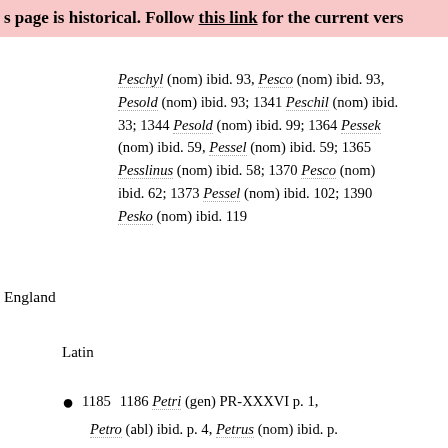s page is historical. Follow this link for the current vers
Peschyl (nom) ibid. 93, Pesco (nom) ibid. 93, Pesold (nom) ibid. 93; 1341 Peschil (nom) ibid. 33; 1344 Pesold (nom) ibid. 99; 1364 Pessek (nom) ibid. 59, Pessel (nom) ibid. 59; 1365 Pesslinus (nom) ibid. 58; 1370 Pesco (nom) ibid. 62; 1373 Pessel (nom) ibid. 102; 1390 Pesko (nom) ibid. 119
England
Latin
1185x1186 Petri (gen) PR-XXXVI p. 1, Petro (abl) ibid. p. 4, Petrus (nom) ibid. p.